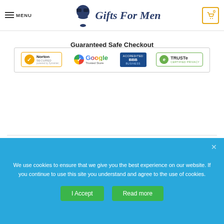MENU | Gifts For Men | 0
Guaranteed Safe Checkout
[Figure (logo): Security badges: Norton Secured (powered by Symantec), Google Trusted Store, BBB Accredited Business, TRUSTe Certified Privacy]
Description
We use cookies to ensure that we give you the best experience on our website. If you continue to use this site you understand and agree to the use of cookies.
I Accept | Read more